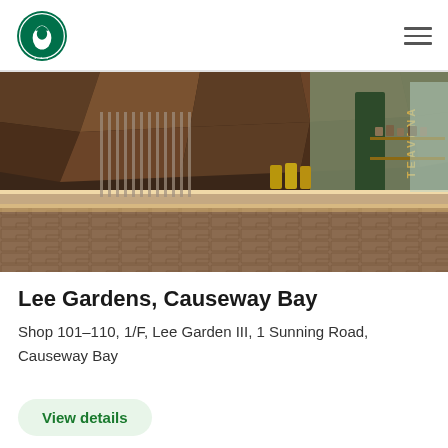Starbucks logo and navigation menu
[Figure (photo): Interior of a Starbucks Teavana store at Lee Gardens, Causeway Bay, showing a wooden geometric ceiling, bar counter with stools, and tea display area with 'TEAVANA' signage on a green wall.]
Lee Gardens, Causeway Bay
Shop 101–110, 1/F, Lee Garden III, 1 Sunning Road, Causeway Bay
View details